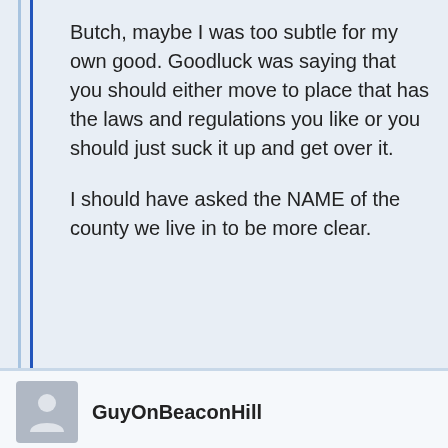Butch, maybe I was too subtle for my own good. Goodluck was saying that you should either move to place that has the laws and regulations you like or you should just suck it up and get over it.
I should have asked the NAME of the county we live in to be more clear.
GuyOnBeaconHill
JULY 3, 2012 AT 9:11 AM
I'm not sure about your calculation of $32,000 less